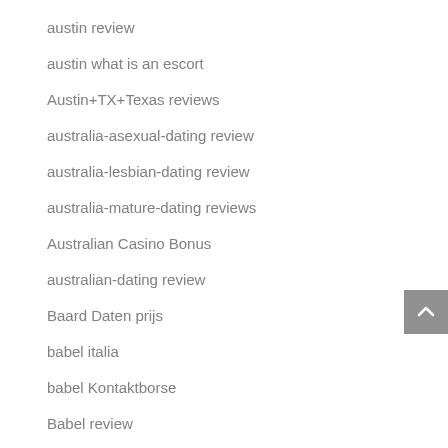austin review
austin what is an escort
Austin+TX+Texas reviews
australia-asexual-dating review
australia-lesbian-dating review
australia-mature-dating reviews
Australian Casino Bonus
australian-dating review
Baard Daten prijs
babel italia
babel Kontaktborse
Babel review
Babel visitors
babel web
bad credit installment loans